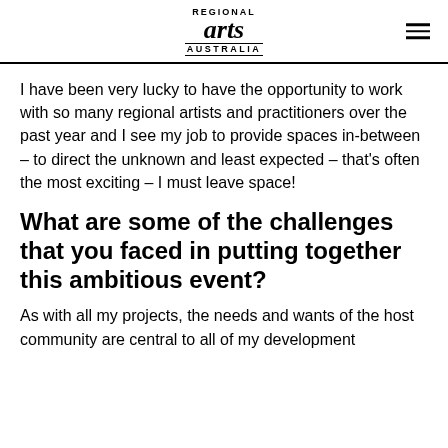REGIONAL arts AUSTRALIA
I have been very lucky to have the opportunity to work with so many regional artists and practitioners over the past year and I see my job to provide spaces in-between – to direct the unknown and least expected – that's often the most exciting – I must leave space!
What are some of the challenges that you faced in putting together this ambitious event?
As with all my projects, the needs and wants of the host community are central to all of my development